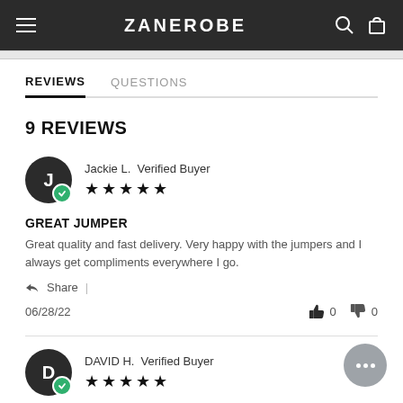ZANEROBE
REVIEWS   QUESTIONS
9 REVIEWS
Jackie L.  Verified Buyer
★★★★★
GREAT JUMPER
Great quality and fast delivery. Very happy with the jumpers and I always get compliments everywhere I go.
Share
06/28/22   👍 0   👎 0
DAVID H.  Verified Buyer